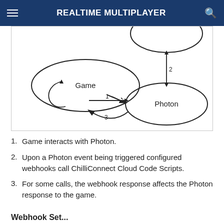REALTIME MULTIPLAYER
[Figure (flowchart): Diagram showing relationships between Game, Photon, and a third unlabeled node at top right. Arrow labeled 1 from Game to Photon, arrow labeled 2 bidirectional between top node and Photon, arrow labeled 3 from Photon back to Game.]
1. Game interacts with Photon.
2. Upon a Photon event being triggered configured webhooks call ChilliConnect Cloud Code Scripts.
3. For some calls, the webhook response affects the Photon response to the game.
Webhook Set...